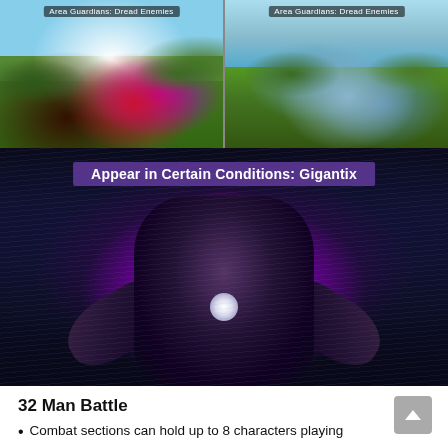[Figure (screenshot): Two side-by-side game screenshots labeled 'Area Guardians: Dread Enemies' showing outdoor battle scenes with colorful creatures and mechanical enemies in a grassy environment]
[Figure (screenshot): Large game screenshot showing a Gigantix enemy - a large dark mechanical creature with purple energy aura - with label 'Appear in Certain Conditions: Gigantix']
32 Man Battle
Combat sections can hold up to 8 characters playing